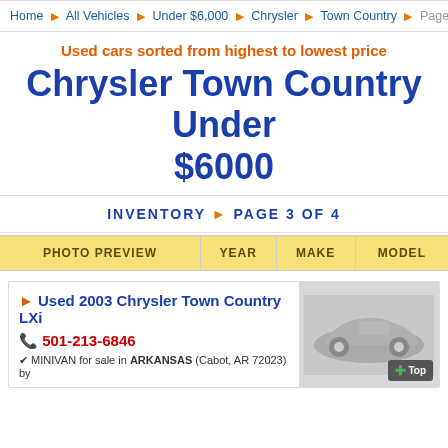Home ▶ All Vehicles ▶ Under $6,000 ▶ Chrysler ▶ Town Country ▶ Page 3 of 4
Used cars sorted from highest to lowest price
Chrysler Town Country Under $6000
INVENTORY ▶ PAGE 3 OF 4
| PHOTO PREVIEW | YEAR | MAKE | MODEL |
| --- | --- | --- | --- |
Used 2003 Chrysler Town Country LXi
501-213-6846
MINIVAN for sale in ARKANSAS (Cabot, AR 72023) by